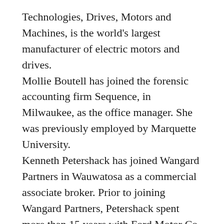Technologies, Drives, Motors and Machines, is the world's largest manufacturer of electric motors and drives.
Mollie Boutell has joined the forensic accounting firm Sequence, in Milwaukee, as the office manager. She was previously employed by Marquette University.
Kenneth Petershack has joined Wangard Partners in Wauwatosa as a commercial associate broker. Prior to joining Wangard Partners, Petershack spent more than 15 years with Ford Motor Co. He held numerous senior management positions throughout the United States, which included, sales, consulting and marketing. In his various positions Petershack worked directly with both national and international